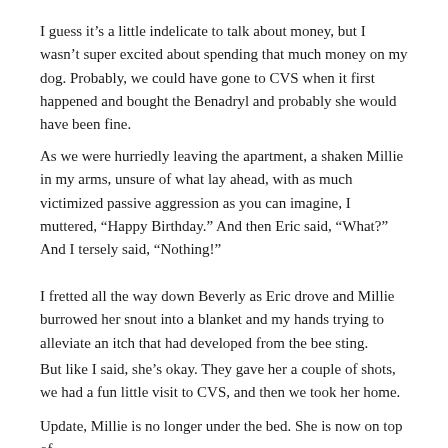I guess it’s a little indelicate to talk about money, but I wasn’t super excited about spending that much money on my dog. Probably, we could have gone to CVS when it first happened and bought the Benadryl and probably she would have been fine.
As we were hurriedly leaving the apartment, a shaken Millie in my arms, unsure of what lay ahead, with as much victimized passive aggression as you can imagine, I muttered, “Happy Birthday.” And then Eric said, “What?” And I tersely said, “Nothing!”
I fretted all the way down Beverly as Eric drove and Millie burrowed her snout into a blanket and my hands trying to alleviate an itch that had developed from the bee sting.
But like I said, she’s okay. They gave her a couple of shots, we had a fun little visit to CVS, and then we took her home.
Update, Millie is no longer under the bed. She is now on top of